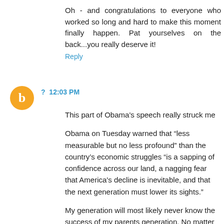Oh - and congratulations to everyone who worked so long and hard to make this moment finally happen. Pat yourselves on the back...you really deserve it!
Reply
[Figure (illustration): Orange circular Blogger avatar icon with white 'b' letter in center]
?  12:03 PM
This part of Obama's speech really struck me
Obama on Tuesday warned that “less measurable but no less profound” than the country’s economic struggles “is a sapping of confidence across our land, a nagging fear that America's decline is inevitable, and that the next generation must lower its sights.”
My generation will most likely never know the success of my parents generation. No matter what happens are standard of living is going down, and most likely will never come back. We are going to have change the way we live in this country permanently: It's going to be incredibly painful for a long time. We can't go back to where we were